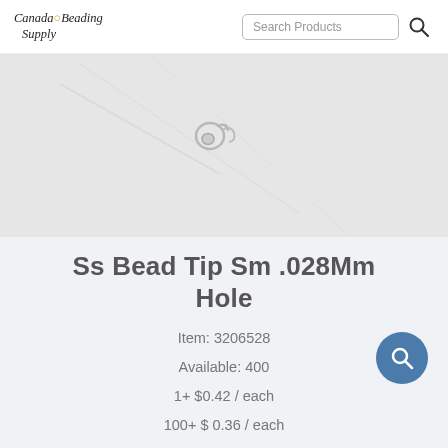Canada Beading Supply | Search Products
[Figure (photo): Product photo of a small sterling silver bead tip with .028mm hole on a light marble/white background]
Ss Bead Tip Sm .028Mm Hole
Item: 3206528
Available: 400
1+ $0.42 / each
100+ $ 0.36 / each